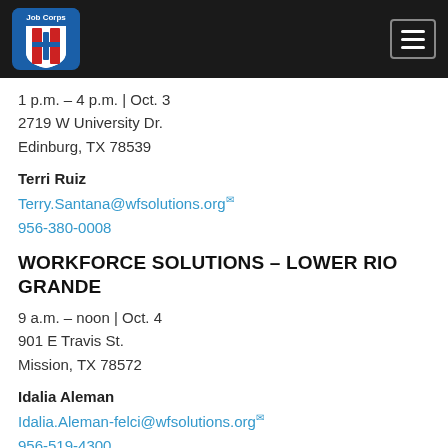[Figure (logo): Job Corps logo — shield with red and white stripes and a blue border, 'Job Corps' text above]
1 p.m. – 4 p.m. | Oct. 3
2719 W University Dr.
Edinburg, TX 78539
Terri Ruiz
Terry.Santana@wfsolutions.org
956-380-0008
WORKFORCE SOLUTIONS – LOWER RIO GRANDE
9 a.m. – noon | Oct. 4
901 E Travis St.
Mission, TX 78572
Idalia Aleman
Idalia.Aleman-felci@wfsolutions.org
956-519-4300
WORKFORCE HONDO TX